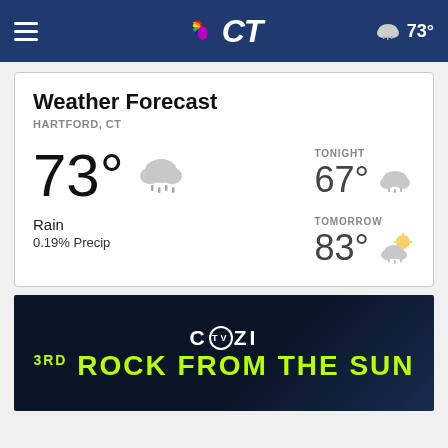NBC CT — 73°
Weather Forecast
HARTFORD, CT
73° Rain 0.19% Precip
TONIGHT 67°
TOMORROW 83°
[Figure (screenshot): COZI TV advertisement banner — '3RD ROCK FROM THE SUN' on dark blue background]